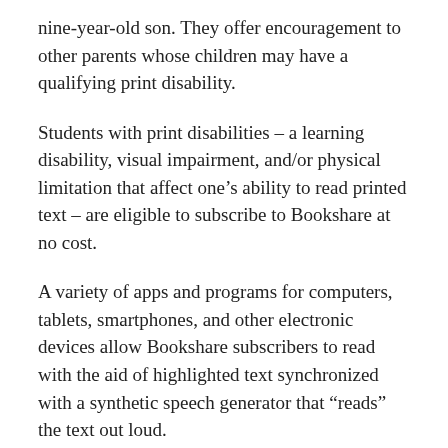nine-year-old son. They offer encouragement to other parents whose children may have a qualifying print disability.
Students with print disabilities – a learning disability, visual impairment, and/or physical limitation that affect one's ability to read printed text – are eligible to subscribe to Bookshare at no cost.
A variety of apps and programs for computers, tablets, smartphones, and other electronic devices allow Bookshare subscribers to read with the aid of highlighted text synchronized with a synthetic speech generator that “reads” the text out loud.
For more information about Accessible Books for Texas, including links to the current videos highlighting Texas students and information on how educators can contact Outreach Coordinators to bring Bookshare to their